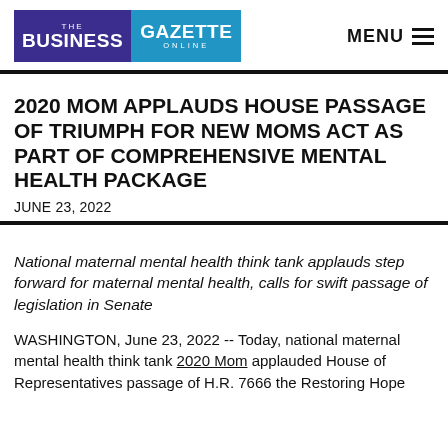[Figure (logo): The Business Gazette Online logo — left portion purple with 'THE' and 'BUSINESS', right portion blue with 'GAZETTE' and 'ONLINE']
MENU ≡
2020 MOM APPLAUDS HOUSE PASSAGE OF TRIUMPH FOR NEW MOMS ACT AS PART OF COMPREHENSIVE MENTAL HEALTH PACKAGE
JUNE 23, 2022
National maternal mental health think tank applauds step forward for maternal mental health, calls for swift passage of legislation in Senate
WASHINGTON, June 23, 2022 -- Today, national maternal mental health think tank 2020 Mom applauded House of Representatives passage of H.R. 7666 the Restoring Hope